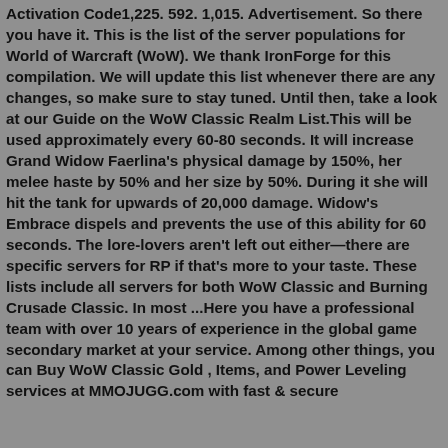Activation Code1,225. 592. 1,015. Advertisement. So there you have it. This is the list of the server populations for World of Warcraft (WoW). We thank IronForge for this compilation. We will update this list whenever there are any changes, so make sure to stay tuned. Until then, take a look at our Guide on the WoW Classic Realm List.This will be used approximately every 60-80 seconds. It will increase Grand Widow Faerlina's physical damage by 150%, her melee haste by 50% and her size by 50%. During it she will hit the tank for upwards of 20,000 damage. Widow's Embrace dispels and prevents the use of this ability for 60 seconds. The lore-lovers aren't left out either—there are specific servers for RP if that's more to your taste. These lists include all servers for both WoW Classic and Burning Crusade Classic. In most ...Here you have a professional team with over 10 years of experience in the global game secondary market at your service. Among other things, you can Buy WoW Classic Gold , Items, and Power Leveling services at MMOJUGG.com with fast & secure